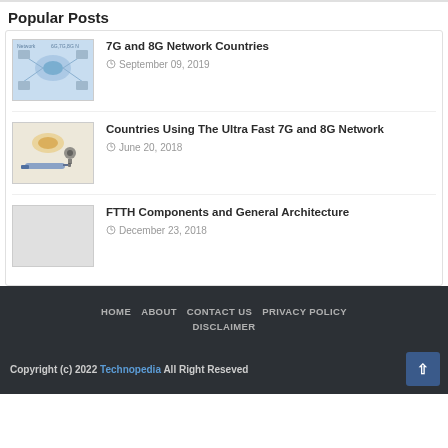Popular Posts
7G and 8G Network Countries
September 09, 2019
Countries Using The Ultra Fast 7G and 8G Network
June 20, 2018
FTTH Components and General Architecture
December 23, 2018
HOME   ABOUT   CONTACT US   PRIVACY POLICY   DISCLAIMER
Copyright (c) 2022 Technopedia All Right Reseved